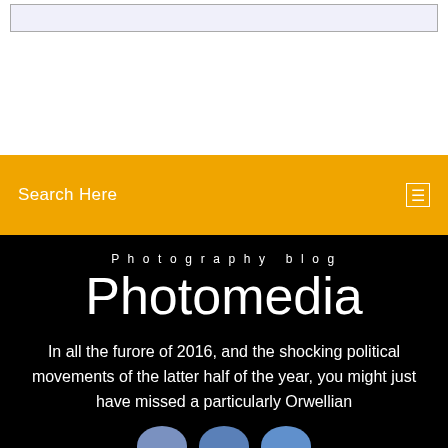[Figure (screenshot): Top white section with a light purple/grey search input box with a border]
Search Here
Photography blog
Photomedia
In all the furore of 2016, and the shocking political movements of the latter half of the year, you might just have missed a particularly Orwellian
[Figure (illustration): Three partially visible blue avatar/profile circles at the bottom of the black section]